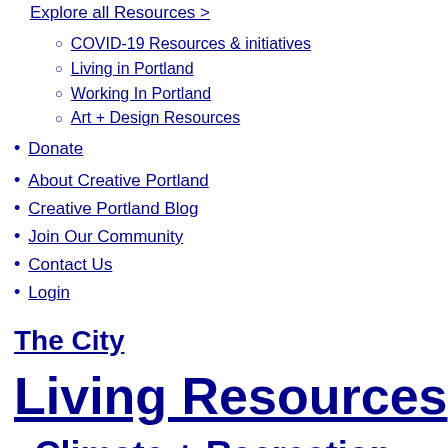Explore all Resources >
COVID-19 Resources & initiatives
Living in Portland
Working In Portland
Art + Design Resources
Donate
About Creative Portland
Creative Portland Blog
Join Our Community
Contact Us
Login
The City
Living Resources
Climate + Recreation